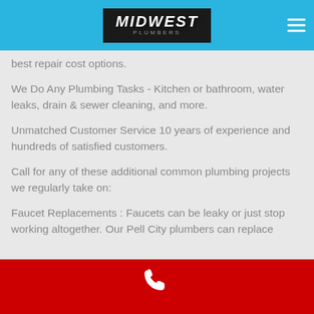[Figure (logo): Midwest logo in black box with white bold italic text and gray subtitle, on blue header bar with hamburger menu icon]
best repair cost options.
We Do Any Plumbing Tasks - Kitchen or bathroom, water leaks, drain & sewer cleaning, and more.
Unmatched Customer Service 10 years of experience and hundreds of satisfied customers.
Call for any of these additional common plumbing projects we regularly take on:
Faucet Replacements : Faucets can be leaky or just stop working altogether. Our Pell City plumbers can replace
[Figure (illustration): White phone handset icon on red footer bar]